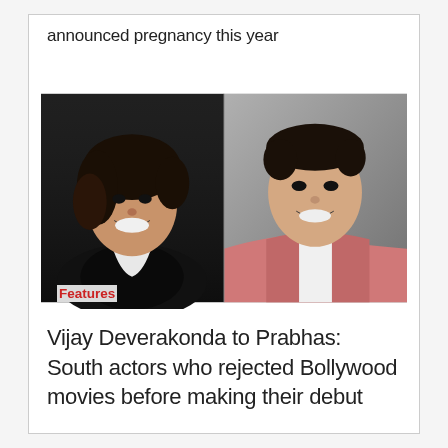announced pregnancy this year
[Figure (photo): Two male Bollywood/South Indian actors side by side. Left: actor with curly hair, wearing black jacket with white collar, smiling broadly. Right: actor in pink blazer over white t-shirt, smiling, against grey background. A red 'Features' label appears over the left image at the bottom.]
Features
Vijay Deverakonda to Prabhas: South actors who rejected Bollywood movies before making their debut